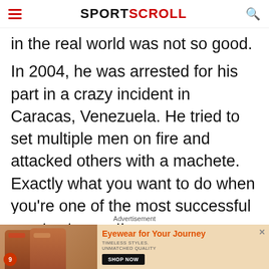SPORTSCROLL
in the real world was not so good.
In 2004, he was arrested for his part in a crazy incident in Caracas, Venezuela. He tried to set multiple men on fire and attacked others with a machete. Exactly what you want to do when you're one of the most successful sports stars in the
Advertisement
[Figure (photo): Advertisement banner for eyewear brand featuring two women wearing sunglasses. Text reads 'Eyewear for Your Journey', 'Timeless Styles. Unmatched Quality', with a 'Shop Now' button.]